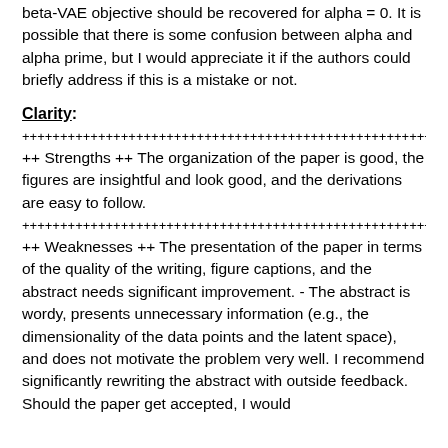beta-VAE objective should be recovered for alpha = 0. It is possible that there is some confusion between alpha and alpha prime, but I would appreciate it if the authors could briefly address if this is a mistake or not.
Clarity:
+++++++++++++++++++++++++++++++++++++++++++++++++
++ Strengths ++ The organization of the paper is good, the figures are insightful and look good, and the derivations are easy to follow.
+++++++++++++++++++++++++++++++++++++++++++++++++
++ Weaknesses ++ The presentation of the paper in terms of the quality of the writing, figure captions, and the abstract needs significant improvement. - The abstract is wordy, presents unnecessary information (e.g., the dimensionality of the data points and the latent space), and does not motivate the problem very well. I recommend significantly rewriting the abstract with outside feedback. Should the paper get accepted, I would recommend to the authors that they request that the abstract